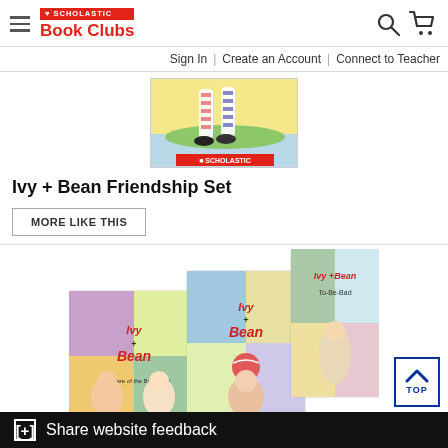Scholastic Book Clubs
Sign In | Create an Account | Connect to Teacher
[Figure (photo): Book cover thumbnail showing striped socks/legs and illustrated characters, yellow background with Scholastic branding]
Ivy + Bean Friendship Set
MORE LIKE THIS
[Figure (photo): Ivy + Bean Friendship Set book covers showing three books: 'Ivy + Bean Take Care of the Babysitter', 'Ivy + Bean', and 'Ivy + Bean No News Is Good News', illustrated children on colorful backgrounds]
[+] Share website feedback